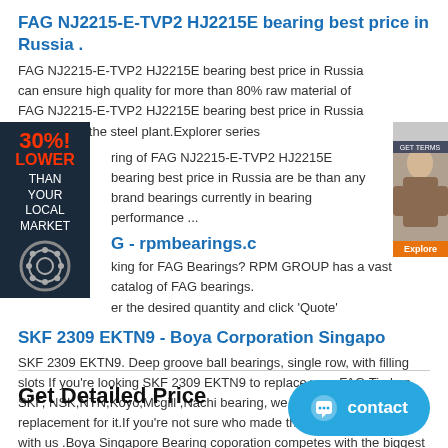FAG NJ2215-E-TVP2 HJ2215E bearing best price in Russia .
FAG NJ2215-E-TVP2 HJ2215E bearing best price in Russia can ensure high quality for more than 80% raw material of FAG NJ2215-E-TVP2 HJ2215E bearing best price in Russia provided by the steel plant.Explorer series ring of FAG NJ2215-E-TVP2 HJ2215E bearing best price in Russia are be than any brand bearings currently in bearing performance ...
[Figure (infographic): Dark ad overlay showing '30% LOWER THAN YOUR LOCAL MARKET' with a bearing icon]
[Figure (photo): Woman photo advertisement on right side with orange button]
G - rpmbearings.c
king for FAG Bearings? RPM GROUP has a vast catalog of FAG bearings. er the desired quantity and click 'Quote'
SKF 2309 EKTN9 - Boya Corporation Singapo
SKF 2309 EKTN9. Deep groove ball bearings, single row, with filling slots If you're looking SKF 2309 EKTN9 to replace your FAG,Timken, SKF, NSK,NTN,Koyo,Mcgill ,Nachi bearing, we make a drop-in replacement for it.If you're not sure who made the bearing just contact with us .Boya Singapore Bearing coporation competes with the biggest names in the bearing industry.
Get Detailed Price
[Figure (infographic): Blue contact button with chat icon]